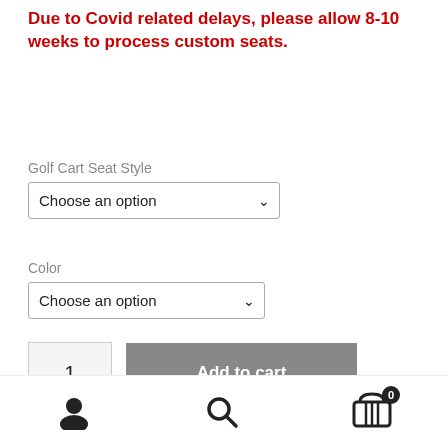Due to Covid related delays, please allow 8-10 weeks to process custom seats.
Golf Cart Seat Style
Choose an option
Color
Choose an option
1
Add to cart
SKU: PGC-DT-DLX-CH-BRZ
Categories: Custom Seats, DoubleTake
[Figure (other): Bottom navigation bar with user account icon, search icon, and shopping cart icon with badge showing 0]